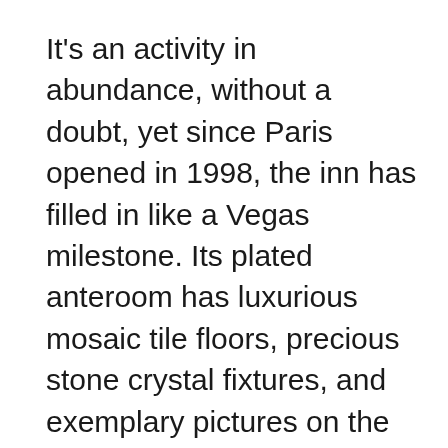It's an activity in abundance, without a doubt, yet since Paris opened in 1998, the inn has filled in like a Vegas milestone. Its plated anteroom has luxurious mosaic tile floors, precious stone crystal fixtures, and exemplary pictures on the dividers.